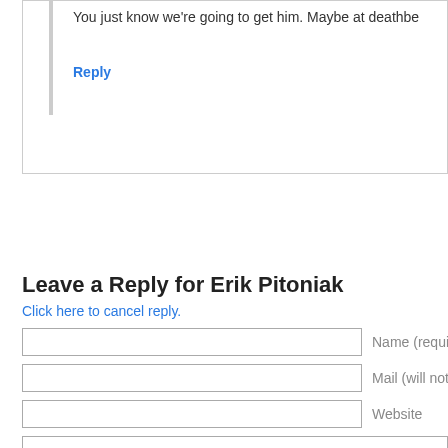You just know we’re going to get him. Maybe at deathbe
Reply
Leave a Reply for Erik Pitoniak
Click here to cancel reply.
Name (required)
Mail (will not be publish
Website